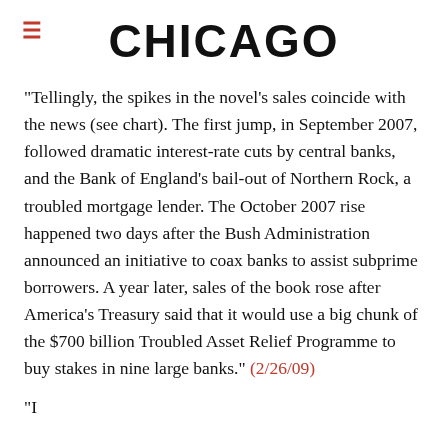CHICAGO
"Tellingly, the spikes in the novel’s sales coincide with the news (see chart). The first jump, in September 2007, followed dramatic interest-rate cuts by central banks, and the Bank of England’s bail-out of Northern Rock, a troubled mortgage lender. The October 2007 rise happened two days after the Bush Administration announced an initiative to coax banks to assist subprime borrowers. A year later, sales of the book rose after America’s Treasury said that it would use a big chunk of the $700 billion Troubled Asset Relief Programme to buy stakes in nine large banks." (2/26/09)